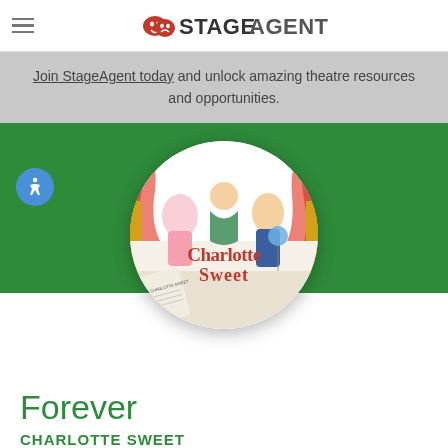STAGEAGENT
Join StageAgent today and unlock amazing theatre resources and opportunities.
[Figure (illustration): Circular cropped theatrical poster for 'Charlotte Sweet' showing performers in costume with red curtains, colorful characters, and the title text 'Charlotte Sweet' in decorative lettering.]
Forever
CHARLOTTE SWEET